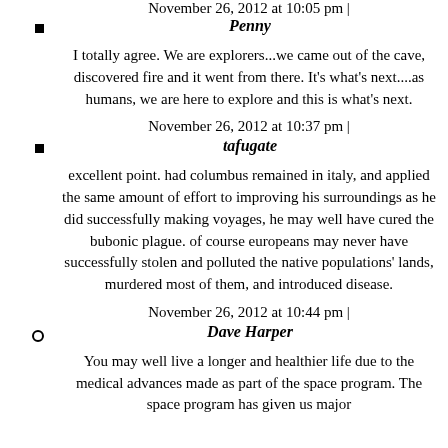November 26, 2012 at 10:05 pm |
Penny
I totally agree. We are explorers...we came out of the cave, discovered fire and it went from there. It's what's next....as humans, we are here to explore and this is what's next.
November 26, 2012 at 10:37 pm |
tafugate
excellent point. had columbus remained in italy, and applied the same amount of effort to improving his surroundings as he did successfully making voyages, he may well have cured the bubonic plague. of course europeans may never have successfully stolen and polluted the native populations' lands, murdered most of them, and introduced disease.
November 26, 2012 at 10:44 pm |
Dave Harper
You may well live a longer and healthier life due to the medical advances made as part of the space program. The space program has given us major